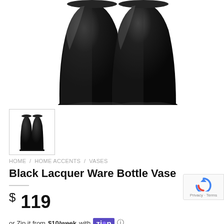[Figure (photo): Two tall black lacquer ware bottle vases photographed from above/side angle against white background, showing glossy black surface with light reflections]
[Figure (photo): Small thumbnail image of two black lacquer bottle vases, full view showing elongated bottle shape]
HOME / HOME ACCENTS / VASES
Black Lacquer Ware Bottle Vase
$ 119
or Zip it from $10/week with ZIP